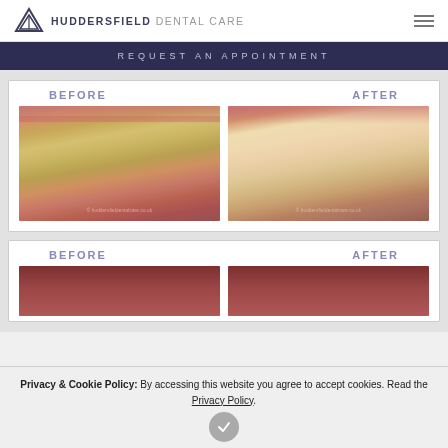Huddersfield Dental Care
REQUEST AN APPOINTMENT
[Figure (photo): Before and after dental treatment photos showing teeth alignment and whitening - first comparison set]
[Figure (photo): Before and after dental treatment photos - second comparison set, partially visible]
Privacy & Cookie Policy: By accessing this website you agree to accept cookies. Read the Privacy Policy.